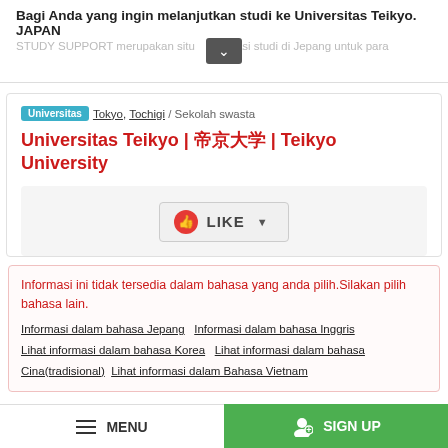Bagi Anda yang ingin melanjutkan studi ke Universitas Teikyo. JAPAN
STUDY SUPPORT merupakan situs informasi studi di Jepang untuk para
Universitas   Tokyo, Tochigi  / Sekolah swasta
Universitas Teikyo | 帝京大学 | Teikyo University
LIKE
Informasi ini tidak tersedia dalam bahasa yang anda pilih.Silakan pilih bahasa lain.
Informasi dalam bahasa Jepang  Informasi dalam bahasa Inggris  Lihat informasi dalam bahasa Korea  Lihat informasi dalam bahasa Cina(tradisional)  Lihat informasi dalam Bahasa Vietnam
Official site:  https://www.teikyo-u.ac.jp/en/
Universitas TeikyoKembali ke halaman utama
MENU   SIGN UP